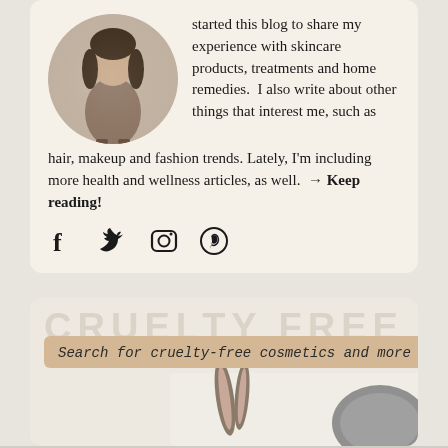started this blog to share my experience with skincare products, treatments and home remedies.  I also write about other things that interest me, such as hair, makeup and fashion trends. Lately, I'm including more health and wellness articles, as well.  → Keep reading!
[Figure (photo): Circular profile photo of a woman in a tan/beige outfit standing in front of a sparkly silver backdrop]
[Figure (photo): Social media icons: Facebook (f), Twitter (bird), Instagram (camera), Pinterest (P)]
Search for cruelty-free cosmetics and more
[Figure (photo): Partial image of rabbits/bunny ears visible at the bottom of the cruelty-free cosmetics card]